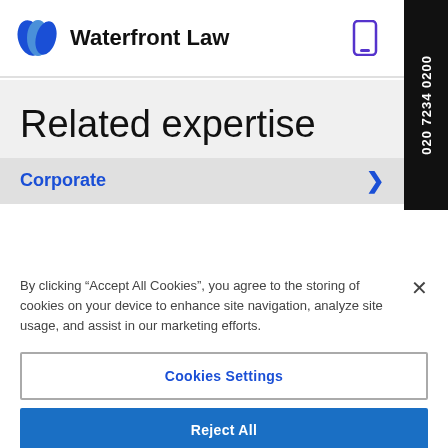[Figure (logo): Waterfront Law logo with blue shield icon and bold text 'Waterfront Law']
Related expertise
Corporate
By clicking “Accept All Cookies”, you agree to the storing of cookies on your device to enhance site navigation, analyze site usage, and assist in our marketing efforts.
Cookies Settings
Reject All
Accept All Cookies